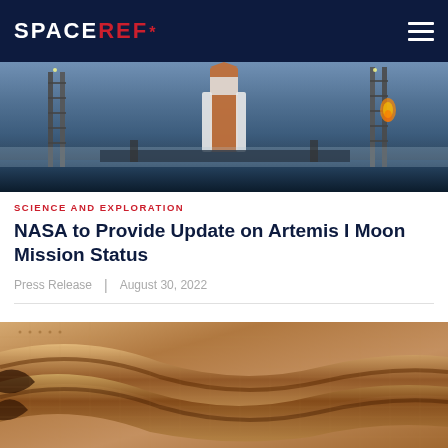SPACEREF*
[Figure (photo): NASA SLS rocket on launch pad with lightning rod towers at night/dusk, misty atmospheric scene]
SCIENCE AND EXPLORATION
NASA to Provide Update on Artemis I Moon Mission Status
Press Release | August 30, 2022
[Figure (photo): Close-up of golden/tan woven metallic mesh material with curved ridged folds, likely heat shield or insulation material]